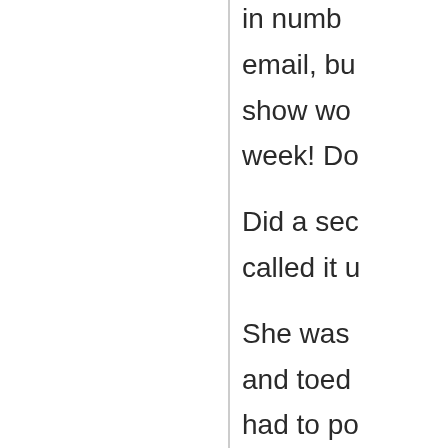in numb email, bu show wo week! Do
Did a sec called it u
She was and toed had to po ONCE I K
But - but
Because where a rerun sec
All said w